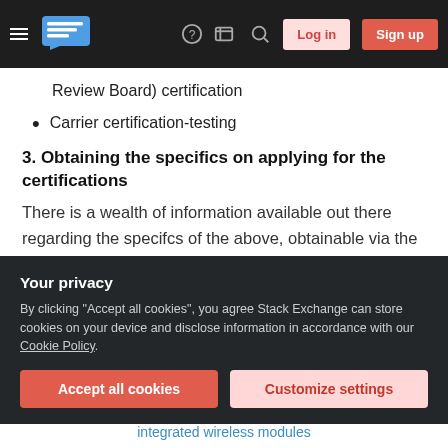Stack Exchange navigation bar with Log in and Sign up buttons
Review Board) certification
Carrier certification-testing
3. Obtaining the specifics on applying for the certifications
There is a wealth of information available out there regarding the specifcs of the above, obtainable via the internet or in paper form from the governing bodies of each of the above. Before you head to the websites/phone numbers of the regulatory agencies,
Your privacy
By clicking "Accept all cookies", you agree Stack Exchange can store cookies on your device and disclose information in accordance with our Cookie Policy.
Accept all cookies   Customize settings
integrated wireless modules